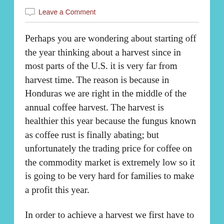Leave a Comment
Perhaps you are wondering about starting off the year thinking about a harvest since in most parts of the U.S. it is very far from harvest time. The reason is because in Honduras we are right in the middle of the annual coffee harvest. The harvest is healthier this year because the fungus known as coffee rust is finally abating; but unfortunately the trading price for coffee on the commodity market is extremely low so it is going to be very hard for families to make a profit this year.
In order to achieve a harvest we first have to sow, or plant; and reap, or gather in what was planted. Since the end of the last harvest the coffee farmers have been planting, weeding, pruning, and fertilizing their farms. They worked hard all year long doing everything they knew how to do to achieve another harvest. To be sure